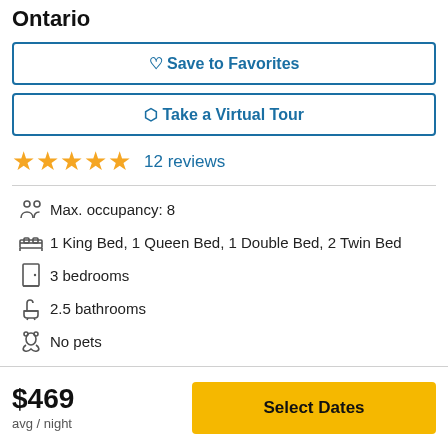Ontario
Save to Favorites
Take a Virtual Tour
★★★★★  12 reviews
Max. occupancy: 8
1 King Bed, 1 Queen Bed, 1 Double Bed, 2 Twin Bed
3 bedrooms
2.5 bathrooms
No pets
$469
avg / night
Select Dates